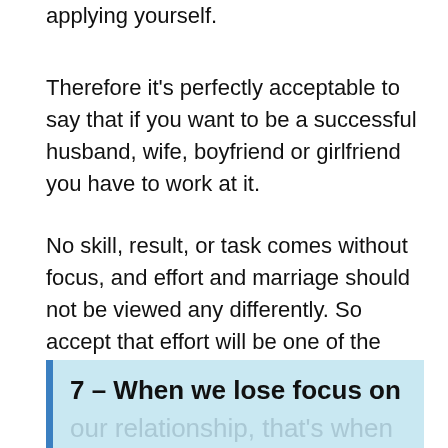applying yourself.
Therefore it's perfectly acceptable to say that if you want to be a successful husband, wife, boyfriend or girlfriend you have to work at it.
No skill, result, or task comes without focus, and effort and marriage should not be viewed any differently. So accept that effort will be one of the key ways to help your relationship grow.
7 – When we lose focus on
our relationship, that's when complacency sets in